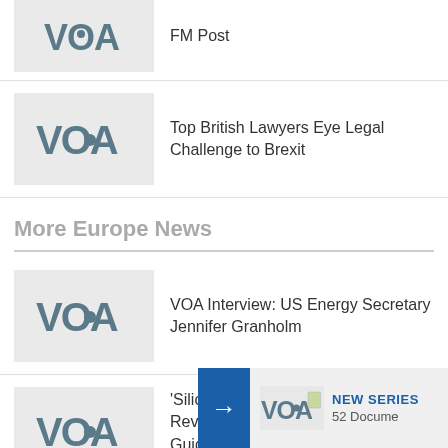[Figure (logo): VOA logo placeholder thumbnail (cropped top)]
FM Post
[Figure (logo): VOA logo placeholder thumbnail]
Top British Lawyers Eye Legal Challenge to Brexit
More Europe News
[Figure (logo): VOA logo placeholder thumbnail]
VOA Interview: US Energy Secretary Jennifer Granholm
[Figure (logo): VOA logo placeholder thumbnail]
‘Silicon Reveals Guiding U...
[Figure (logo): VOA popup logo]
NEW SERIES
52 Docume...